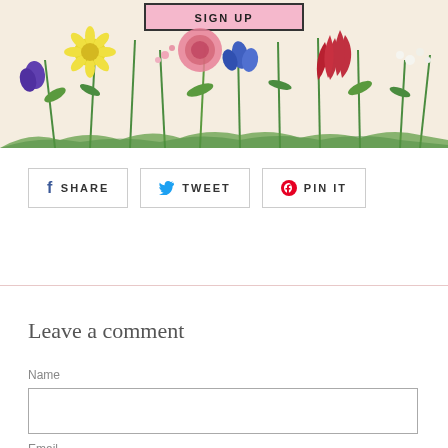[Figure (illustration): Floral botanical banner with colorful flowers including yellow, pink, red, and blue blooms on a cream background, with a pink 'SIGN UP' button at the top center]
SHARE   TWEET   PIN IT
Leave a comment
Name
Email